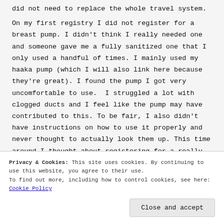did not need to replace the whole travel system.
On my first registry I did not register for a breast pump. I didn't think I really needed one and someone gave me a fully sanitized one that I only used a handful of times. I mainly used my haaka pump (which I will also link here because they're great). I found the pump I got very uncomfortable to use.  I struggled a lot with clogged ducts and I feel like the pump may have contributed to this. To be fair, I also didn't have instructions on how to use it properly and never thought to actually look them up. This time around I thought about registering for a really good breast pump but I really didn't pump enough the first time to
Privacy & Cookies: This site uses cookies. By continuing to use this website, you agree to their use.
To find out more, including how to control cookies, see here: Cookie Policy
Close and accept